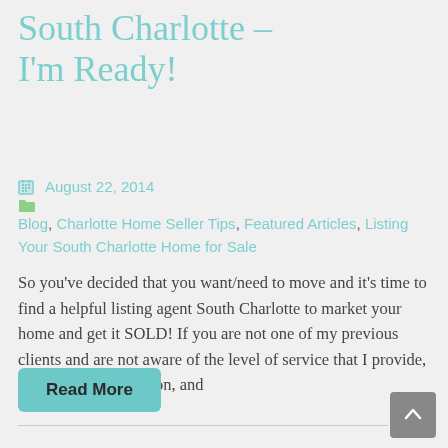South Charlotte – I'm Ready!
August 22, 2014
Blog, Charlotte Home Seller Tips, Featured Articles, Listing Your South Charlotte Home for Sale
So you've decided that you want/need to move and it's time to find a helpful listing agent South Charlotte to market your home and get it SOLD!  If you are not one of my previous clients and are not aware of the level of service that I provide, I hope you will read on, and
Read More